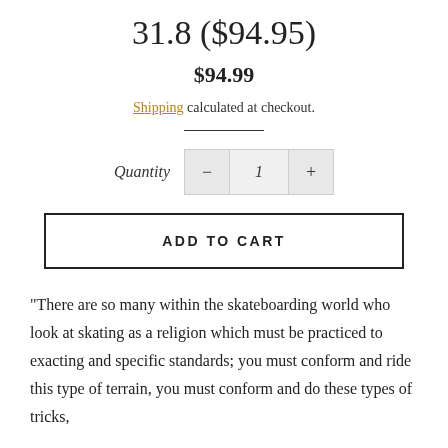31.8 ($94.95)
$94.99
Shipping calculated at checkout.
Quantity 1
ADD TO CART
“There are so many within the skateboarding world who look at skating as a religion which must be practiced to exacting and specific standards; you must conform and ride this type of terrain, you must conform and do these types of tricks,